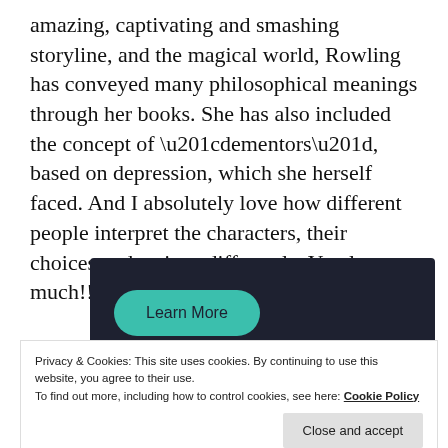amazing, captivating and smashing storyline, and the magical world, Rowling has conveyed many philosophical meanings through her books. She has also included the concept of “dementors”, based on depression, which she herself faced. And I absolutely love how different people interpret the characters, their choices and actions differently. You learn so much!!
[Figure (other): Dark banner with a teal 'Learn More' rounded button]
Privacy & Cookies: This site uses cookies. By continuing to use this website, you agree to their use.
To find out more, including how to control cookies, see here: Cookie Policy
Close and accept